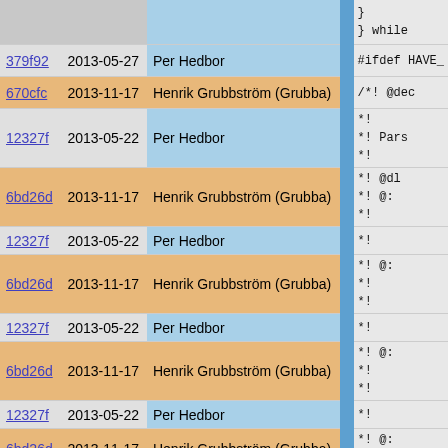| hash | date | author | sep | code |
| --- | --- | --- | --- | --- |
|  |  |  |  | }  
}  while |
| 379f92 | 2013-05-27 | Per Hedbor |  | #ifdef HAVE_ |
| 670cfc | 2013-11-17 | Henrik Grubbström (Grubba) |  | /*! @dec |
| 12327f | 2013-05-22 | Per Hedbor |  | *!
*! Pars
*! |
| 6bd26d | 2013-11-17 | Henrik Grubbström (Grubba) |  | *! @dl
*!   @:
*! |
| 12327f | 2013-05-22 | Per Hedbor |  | *! |
| 6bd26d | 2013-11-17 | Henrik Grubbström (Grubba) |  | *!   @:
*!
*! |
| 12327f | 2013-05-22 | Per Hedbor |  | *! |
| 6bd26d | 2013-11-17 | Henrik Grubbström (Grubba) |  | *!   @:
*!
*! |
| 12327f | 2013-05-22 | Per Hedbor |  | *! |
| 6bd26d | 2013-11-17 | Henrik Grubbström (Grubba) |  | *!   @:
*!
*! |